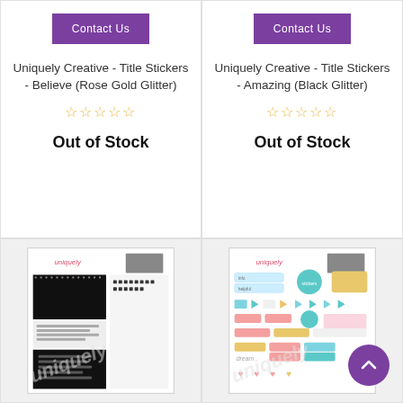Contact Us
Uniquely Creative - Title Stickers - Believe (Rose Gold Glitter)
☆☆☆☆☆
Out of Stock
Contact Us
Uniquely Creative - Title Stickers - Amazing (Black Glitter)
☆☆☆☆☆
Out of Stock
[Figure (photo): Uniquely Creative sticker sheet with black and white alphabet/title stickers arranged in a grid pattern, branded with 'uniquely' logo]
[Figure (photo): Uniquely Creative sticker sheet with colorful assorted stickers including labels, hearts, arrows, banners, and decorative elements in teal, pink, and gold colors]